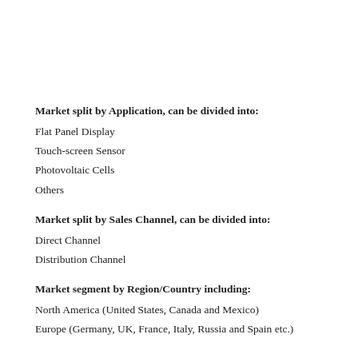Market split by Application, can be divided into:
Flat Panel Display
Touch-screen Sensor
Photovoltaic Cells
Others
Market split by Sales Channel, can be divided into:
Direct Channel
Distribution Channel
Market segment by Region/Country including:
North America (United States, Canada and Mexico)
Europe (Germany, UK, France, Italy, Russia and Spain etc.)